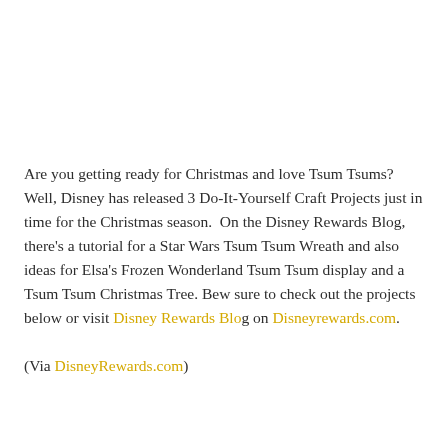Are you getting ready for Christmas and love Tsum Tsums?  Well, Disney has released 3 Do-It-Yourself Craft Projects just in time for the Christmas season.  On the Disney Rewards Blog, there's a tutorial for a Star Wars Tsum Tsum Wreath and also ideas for Elsa's Frozen Wonderland Tsum Tsum display and a Tsum Tsum Christmas Tree. Bew sure to check out the projects below or visit Disney Rewards Blog on Disneyrewards.com.
(Via DisneyRewards.com)